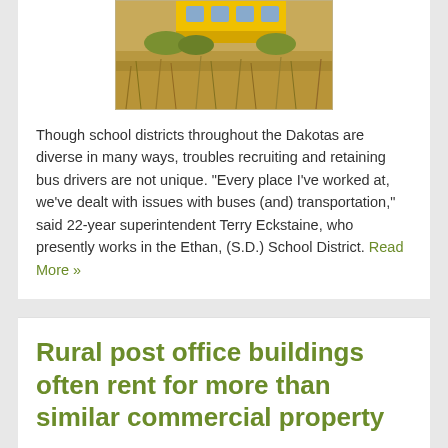[Figure (photo): A yellow school bus partially visible at top of image with tall dry grass/prairie field in the background.]
Though school districts throughout the Dakotas are diverse in many ways, troubles recruiting and retaining bus drivers are not unique. “Every place I’ve worked at, we’ve dealt with issues with buses (and) transportation,” said 22-year superintendent Terry Eckstaine, who presently works in the Ethan, (S.D.) School District. Read More »
Rural post office buildings often rent for more than similar commercial property
August 11, 2015    0 Comments